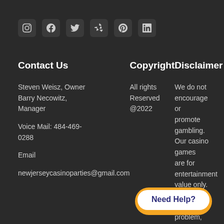[Figure (other): Row of 6 social media icon buttons (Instagram, Facebook, Twitter, Yelp, Pinterest, LinkedIn) on dark background]
Contact Us
Copyright
Disclaimer
Steven Weisz, Owner Barry Necowitz, Manager
All rights Reserved @2022
We do not encourage or promote gambling. Our casino games are for entertainment value only. Have a gambling problem, Call 1-800-
Voice Mail: 484-469-0288
Email newjerseycasinoparties@gmail.com
Need Help?